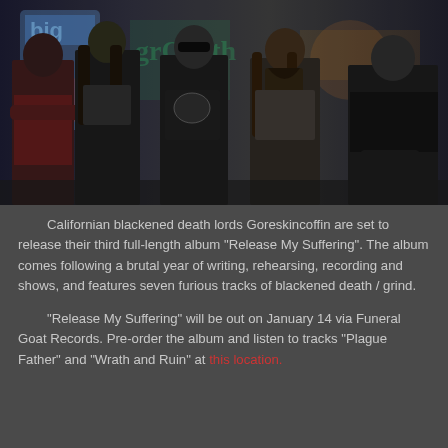[Figure (photo): Five male band members standing in front of a graffiti-covered wall. They are wearing dark clothing including band t-shirts. Photo is in dark, moody tones.]
Californian blackened death lords Goreskincoffin are set to release their third full-length album "Release My Suffering". The album comes following a brutal year of writing, rehearsing, recording and shows, and features seven furious tracks of blackened death / grind.
"Release My Suffering" will be out on January 14 via Funeral Goat Records. Pre-order the album and listen to tracks "Plague Father" and "Wrath and Ruin" at this location.